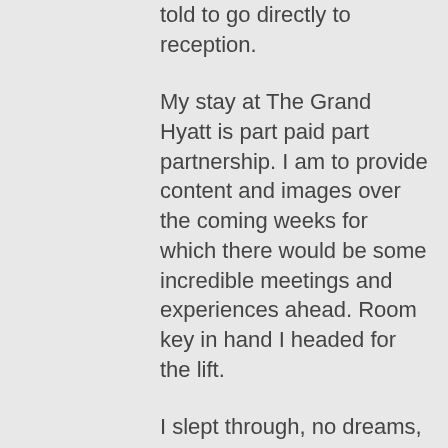told to go directly to reception.
My stay at The Grand Hyatt is part paid part partnership. I am to provide content and images over the coming weeks for which there would be some incredible meetings and experiences ahead. Room key in hand I headed for the lift.
I slept through, no dreams, no notes and woke ready to go. I just wasn't sure what to do first. I had a meeting at 11am and had been fed so well on the plane I didn't feel like breakfast. I walked into the bathroom and saw the spa, green tea and cucumber soap and a loofah. A Monday morning bath? Why the hell not, at